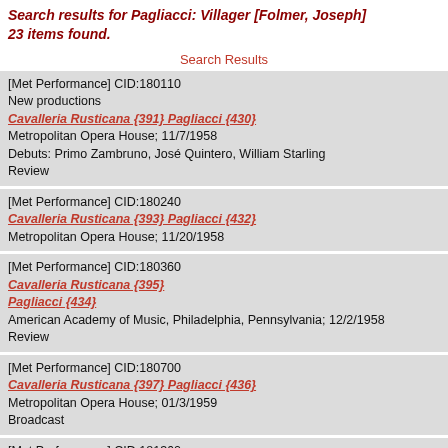Search results for Pagliacci: Villager [Folmer, Joseph] 23 items found.
Search Results
[Met Performance] CID:180110
New productions
Cavalleria Rusticana {391} Pagliacci {430}
Metropolitan Opera House; 11/7/1958
Debuts: Primo Zambruno, José Quintero, William Starling
Review
[Met Performance] CID:180240
Cavalleria Rusticana {393} Pagliacci {432}
Metropolitan Opera House; 11/20/1958
[Met Performance] CID:180360
Cavalleria Rusticana {395}
Pagliacci {434}
American Academy of Music, Philadelphia, Pennsylvania; 12/2/1958
Review
[Met Performance] CID:180700
Cavalleria Rusticana {397} Pagliacci {436}
Metropolitan Opera House; 01/3/1959
Broadcast
[Met Performance] CID:181360
Cavalleria Rusticana {398} Pagliacci {437}
Metropolitan Opera House; 03/7/1959
[Met Performance] CID:181870
Cavalleria Rusticana {401} Pagliacci {440}
Metropolitan Theatre, Boston, Massachusetts; 04/18/1959